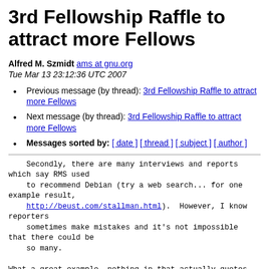3rd Fellowship Raffle to attract more Fellows
Alfred M. Szmidt ams at gnu.org
Tue Mar 13 23:12:36 UTC 2007
Previous message (by thread): 3rd Fellowship Raffle to attract more Fellows
Next message (by thread): 3rd Fellowship Raffle to attract more Fellows
Messages sorted by: [ date ] [ thread ] [ subject ] [ author ]
Secondly, there are many interviews and reports which say RMS used
    to recommend Debian (try a web search... for one example result,
    http://beust.com/stallman.html).  However, I know reporters
    sometimes make mistakes and it's not impossible that there could be
    so many.

What a great example, nothing in that actually quotes
RMS